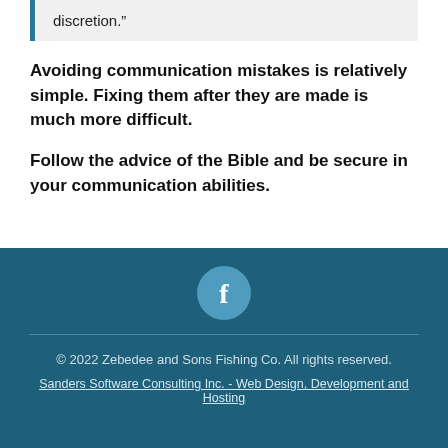discretion.”
Avoiding communication mistakes is relatively simple. Fixing them after they are made is much more difficult.
Follow the advice of the Bible and be secure in your communication abilities.
© 2022 Zebedee and Sons Fishing Co. All rights reserved.
Sanders Software Consulting Inc. - Web Design, Development and Hosting